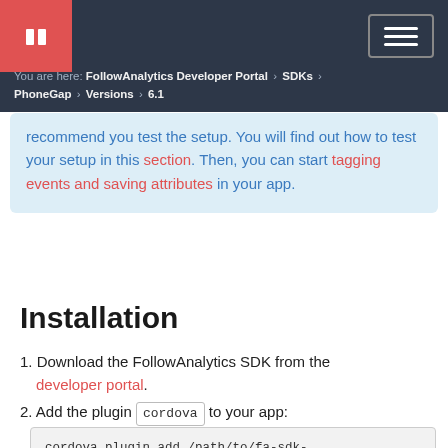You are here: FollowAnalytics Developer Portal > SDKs > PhoneGap > Versions > 6.1
recommend you test the setup. You will find out how to test your setup in this section. Then, you can start tagging events and saving attributes in your app.
Installation
1. Download the FollowAnalytics SDK from the developer portal.
2. Add the plugin cordova to your app:
cordova plugin add /path/to/fa-sdk-phonegap-plugin/